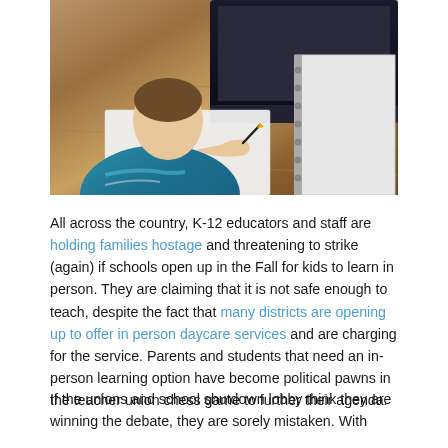[Figure (photo): A young child with short hair, wearing a teal/blue hoodie, sitting at a wooden desk writing in a notebook, with a laptop and spiral notebook visible in the background.]
All across the country, K-12 educators and staff are holding families hostage and threatening to strike (again) if schools open up in the Fall for kids to learn in person. They are claiming that it is not safe enough to teach, despite the fact that many districts are opening up to offer in person daycare services and are charging for the service. Parents and students that need an in-person learning option have become political pawns in the teacher union chess game to further their agenda.
If the unions and school shutdown lobby think they are winning the debate, they are sorely mistaken. With